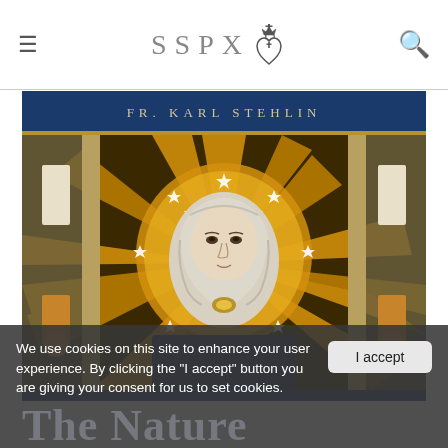SSPX (logo with sacred heart and crown icon)
[Figure (illustration): Book cover for 'The Nature' by Fr. Karl Stehlin featuring a stained glass image of the Virgin Mary with golden halo and stars, dark blue background with gold bar.]
We use cookies on this site to enhance your user experience. By clicking the "I accept" button you are giving your consent for us to set cookies.
I accept
The Nature